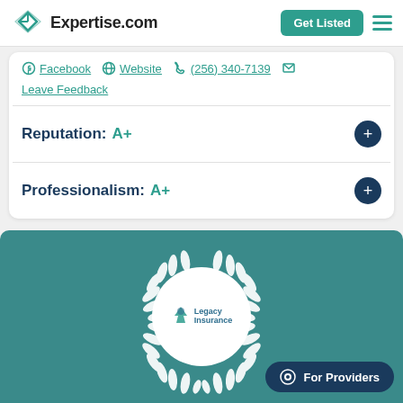Expertise.com — Get Listed
Facebook  Website  (256) 340-7139
Leave Feedback
Reputation:  A+
Professionalism:  A+
[Figure (logo): Legacy Insurance logo inside white circle with decorative wreath on teal background, with 'For Providers' chat button overlay]